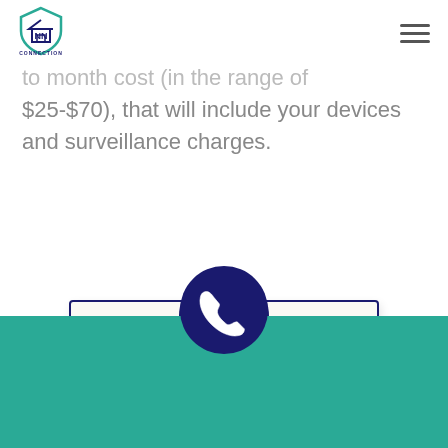[Figure (logo): NN Connection shield logo with house icon and teal/navy colors, with text CONNECTION below]
to month cost (in the range of $25-$70), that will include your devices and surveillance charges.
Call Us Now For A Quote
[Figure (illustration): Dark navy blue semicircle with white phone handset icon, overlapping teal footer section]